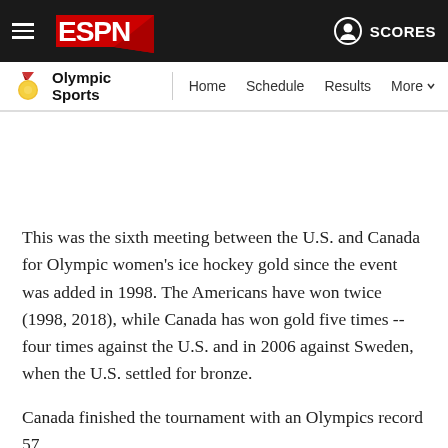ESPN Olympic Sports — Home | Schedule | Results | More | SCORES
This was the sixth meeting between the U.S. and Canada for Olympic women's ice hockey gold since the event was added in 1998. The Americans have won twice (1998, 2018), while Canada has won gold five times -- four times against the U.S. and in 2006 against Sweden, when the U.S. settled for bronze.
Canada finished the tournament with an Olympics record 57